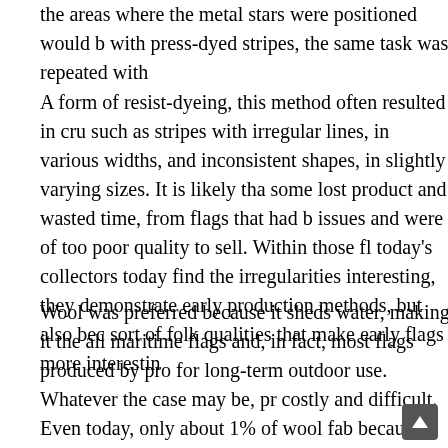the areas where the metal stars were positioned would b with press-dyed stripes, the same task was repeated with
A form of resist-dyeing, this method often resulted in cru such as stripes with irregular lines, in various widths, and inconsistent shapes, in slightly varying sizes. It is likely tha some lost product and wasted time, from flags that had b issues and were of too poor quality to sell. Within those fl today's collectors today find the irregularities interesting, they demonstrate early production methods, but also bec sort of folk qualities that make early flags more interestin
Wool was preferred because it sheds water, making it the all maritime flags and, in fact, most flags produced by pro for long-term outdoor use. Whatever the case may be, pr costly and difficult. Even today, only about 1% of wool fab because it generally needs to be washed afterward and w treated with water. Press-dying was primarily used durin by the U.S. Bunting Company of Lowell, Massachusett